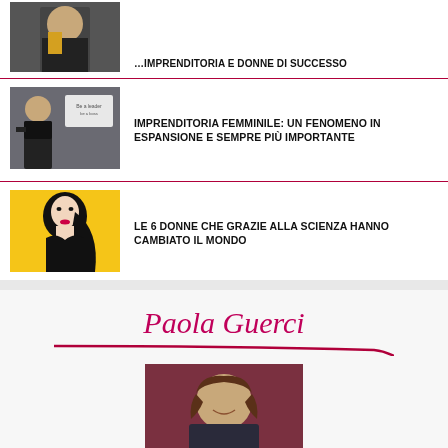[Figure (photo): Partially visible photo of a woman in a dark jacket with yellow accents, cropped at top]
IMPRENDITORIA FEMMINILE: UN FENOMENO IN ESPANSIONE E SEMPRE PIÙ IMPORTANTE
[Figure (photo): Woman in business attire in front of a whiteboard with writing]
LE 6 DONNE CHE GRAZIE ALLA SCIENZA HANNO CAMBIATO IL MONDO
[Figure (illustration): Stylized illustration of a woman's silhouette with black hair on yellow background]
Paola Guerci
[Figure (photo): Portrait photo of a woman with curly brown hair smiling, dark red background]